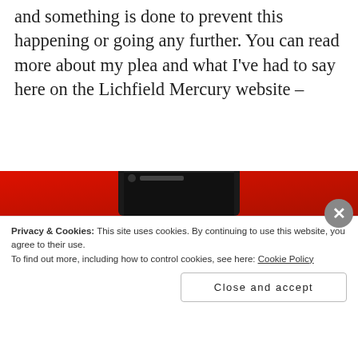and something is done to prevent this happening or going any further. You can read more about my plea and what I've had to say here on the Lichfield Mercury website –
http://www.lichfieldmercury.co.uk/Teenage-blogger-urges-people-look-nature-reserve/story-21003040-detail/story.html
[Figure (photo): Red smartphone/device advertisement image, partially visible]
Privacy & Cookies: This site uses cookies. By continuing to use this website, you agree to their use. To find out more, including how to control cookies, see here: Cookie Policy
Close and accept